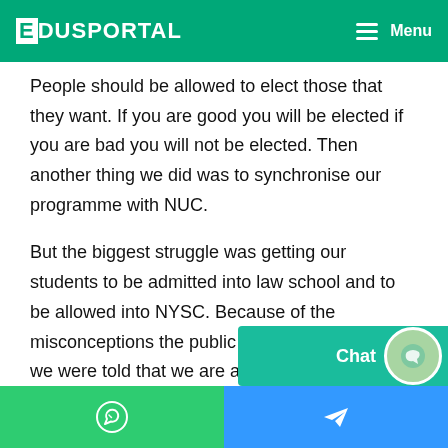EDUSPORTAL — Menu
People should be allowed to elect those that they want. If you are good you will be elected if you are bad you will not be elected. Then another thing we did was to synchronise our programme with NUC.
But the biggest struggle was getting our students to be admitted into law school and to be allowed into NYSC. Because of the misconceptions the public have about all these, we were told that we are a correspondent, part time and so on and that NYSC and council on education do not allow correspondent and part time students to enroll. So the first thing we did was to set up a process to end our Acts which we remove any reference to correspondence or part time and we are very hopeful that soon, Mr President w... to...
WhatsApp | Telegram | Chat